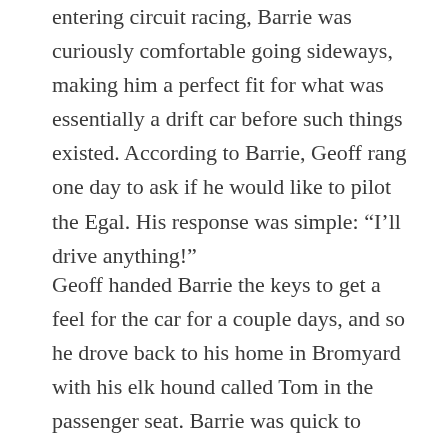entering circuit racing, Barrie was curiously comfortable going sideways, making him a perfect fit for what was essentially a drift car before such things existed. According to Barrie, Geoff rang one day to ask if he would like to pilot the Egal. His response was simple: “I’ll drive anything!”
Geoff handed Barrie the keys to get a feel for the car for a couple days, and so he drove back to his home in Bromyard with his elk hound called Tom in the passenger seat. Barrie was quick to realise what a monster the Egal was—it